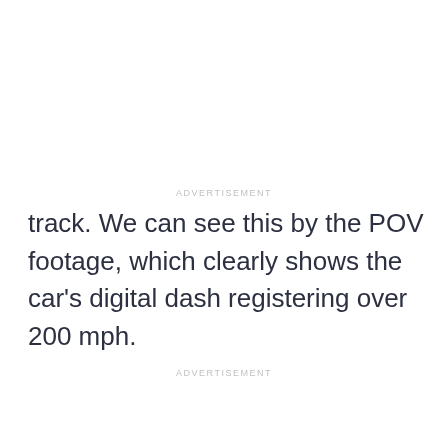ADVERTISEMENT
track. We can see this by the POV footage, which clearly shows the car's digital dash registering over 200 mph.
ADVERTISEMENT